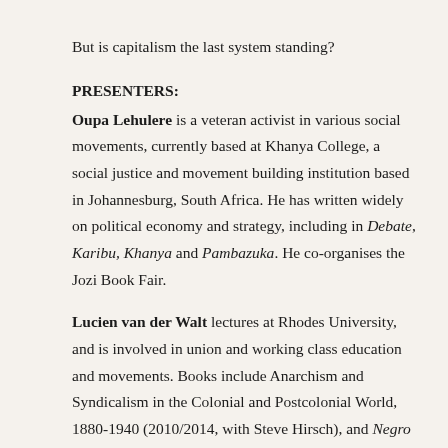But is capitalism the last system standing?
PRESENTERS:
Oupa Lehulere is a veteran activist in various social movements, currently based at Khanya College, a social justice and movement building institution based in Johannesburg, South Africa. He has written widely on political economy and strategy, including in Debate, Karibu, Khanya and Pambazuka. He co-organises the Jozi Book Fair.
Lucien van der Walt lectures at Rhodes University, and is involved in union and working class education and movements. Books include Anarchism and Syndicalism in the Colonial and Postcolonial World, 1880-1940 (2010/2014, with Steve Hirsch), and Negro e